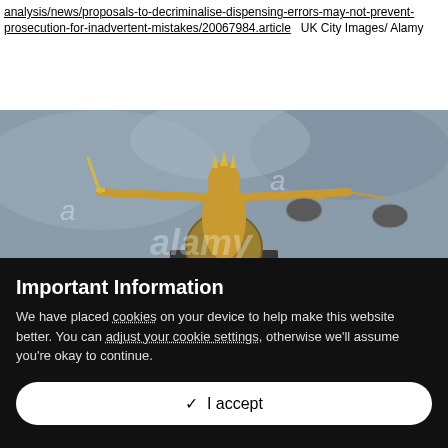analysis/news/proposals-to-decriminalise-dispensing-errors-may-not-prevent-prosecution-for-inadvertent-mistakes/20067984.article   UK City Images/ Alamy
[Figure (photo): Golden statue of Lady Justice holding scales and sword, photographed from below against a grey sky, with Alamy watermark overlay.]
Important Information
We have placed cookies on your device to help make this website better. You can adjust your cookie settings, otherwise we'll assume you're okay to continue.
✓  I accept